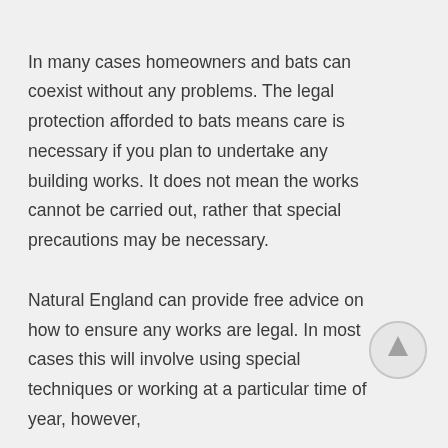In many cases homeowners and bats can coexist without any problems. The legal protection afforded to bats means care is necessary if you plan to undertake any building works. It does not mean the works cannot be carried out, rather that special precautions may be necessary.
Natural England can provide free advice on how to ensure any works are legal. In most cases this will involve using special techniques or working at a particular time of year, however,